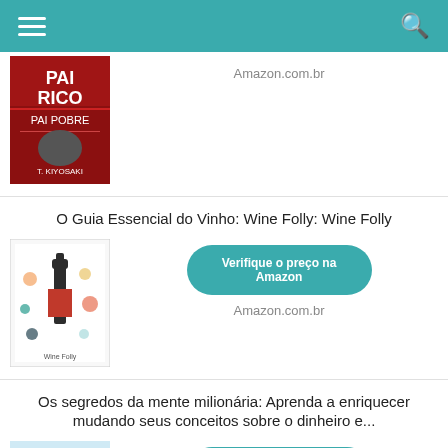Navigation bar with menu and search icons
[Figure (photo): Book cover: Pai Rico Pai Pobre by Robert T. Kiyosaki]
Amazon.com.br
O Guia Essencial do Vinho: Wine Folly: Wine Folly
Verifique o preço na Amazon
Amazon.com.br
[Figure (photo): Book cover: O Guia Essencial do Vinho: Wine Folly]
Os segredos da mente milionária: Aprenda a enriquecer mudando seus conceitos sobre o dinheiro e...
Verifique o preço na Amazon
Amazon.com.br
[Figure (photo): Book cover: Os segredos da mente milionária by T. Harv Eker]